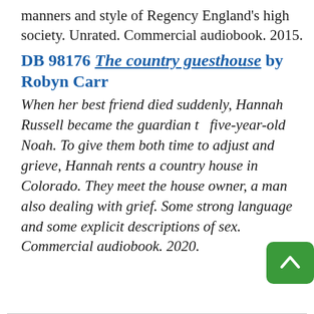manners and style of Regency England's high society. Unrated. Commercial audiobook. 2015.
DB 98176 The country guesthouse by Robyn Carr
When her best friend died suddenly, Hannah Russell became the guardian to five-year-old Noah. To give them both time to adjust and grieve, Hannah rents a country house in Colorado. They meet the house owner, a man also dealing with grief. Some strong language and some explicit descriptions of sex. Commercial audiobook. 2020.